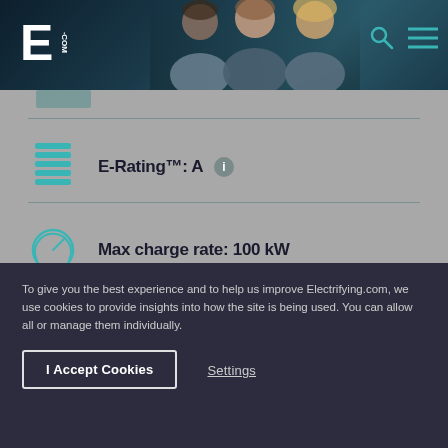[Figure (screenshot): Electrifying.com website header with logo, three people photos, search and menu icons on dark teal/navy background]
E-Rating™: A
Max charge rate: 100 kW
Range: 193-232 miles
To give you the best experience and to help us improve Electrifying.com, we use cookies to provide insights into how the site is being used. You can allow all or manage them individually.
I Accept Cookies
Settings